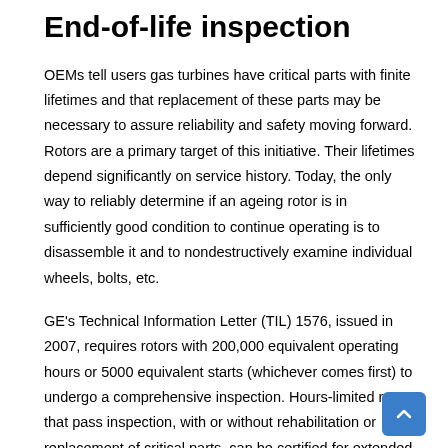End-of-life inspection
OEMs tell users gas turbines have critical parts with finite lifetimes and that replacement of these parts may be necessary to assure reliability and safety moving forward. Rotors are a primary target of this initiative. Their lifetimes depend significantly on service history. Today, the only way to reliably determine if an ageing rotor is in sufficiently good condition to continue operating is to disassemble it and to nondestructively examine individual wheels, bolts, etc.
GE's Technical Information Letter (TIL) 1576, issued in 2007, requires rotors with 200,000 equivalent operating hours or 5000 equivalent starts (whichever comes first) to undergo a comprehensive inspection. Hours-limited rotors that pass inspection, with or without rehabilitation or replacement of critical parts, can be certified for extended service (50,000 or more hours). The OEM's current position reportedly is that